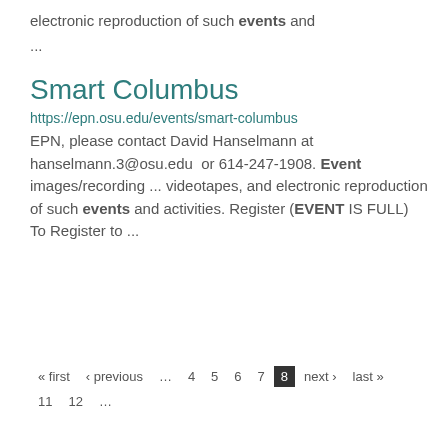electronic reproduction of such events and
...
Smart Columbus
https://epn.osu.edu/events/smart-columbus
EPN, please contact David Hanselmann at hanselmann.3@osu.edu  or 614-247-1908. Event images/recording ... videotapes, and electronic reproduction of such events and activities. Register (EVENT IS FULL) To Register to ...
« first  ‹ previous  …  4  5  6  7  8  next ›  last »  11  12  …